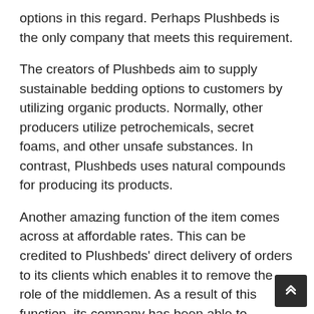options in this regard. Perhaps Plushbeds is the only company that meets this requirement.
The creators of Plushbeds aim to supply sustainable bedding options to customers by utilizing organic products. Normally, other producers utilize petrochemicals, secret foams, and other unsafe substances. In contrast, Plushbeds uses natural compounds for producing its products.
Another amazing function of the item comes across at affordable rates. This can be credited to Plushbeds' direct delivery of orders to its clients which enables it to remove the role of the middlemen. As a result of this function, its company has been able to witness rapid development in the last few years.